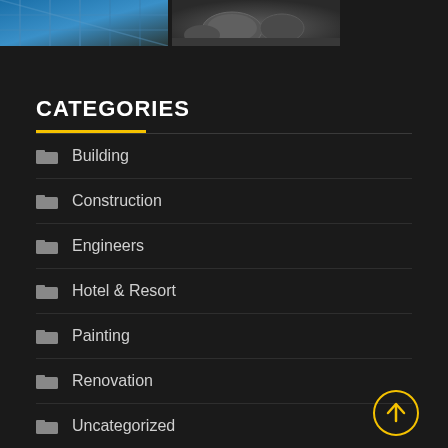[Figure (photo): Two thumbnail images at top: left is a blue steel/construction structure, right is a grey scene with large rocks or boulders.]
CATEGORIES
Building
Construction
Engineers
Hotel & Resort
Painting
Renovation
Uncategorized